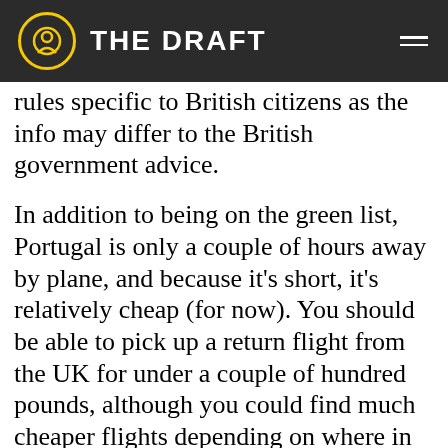THE DRAFT
rules specific to British citizens as the info may differ to the British government advice.
In addition to being on the green list, Portugal is only a couple of hours away by plane, and because it’s short, it’s relatively cheap (for now). You should be able to pick up a return flight from the UK for under a couple of hundred pounds, although you could find much cheaper flights depending on where in the country you’re heading and